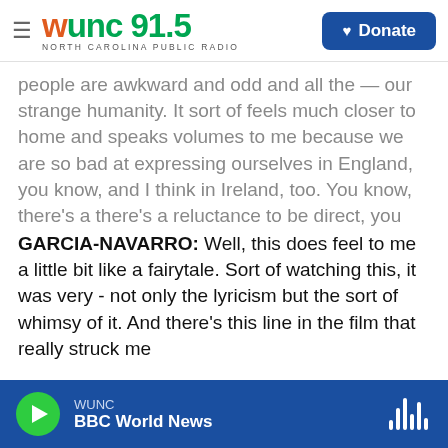WUNC 91.5 NORTH CAROLINA PUBLIC RADIO | Donate
people are awkward and odd and all the — our strange humanity. It sort of feels much closer to home and speaks volumes to me because we are so bad at expressing ourselves in England, you know, and I think in Ireland, too. You know, there's a there's a reluctance to be direct, you know? That we're just sort of more abstract people, I guess, and - or just really repressed. So...
GARCIA-NAVARRO: Well, this does feel to me a little bit like a fairytale. Sort of watching this, it was very - not only the lyricism but the sort of whimsy of it. And there's this line in the film that really struck me
WUNC | BBC World News